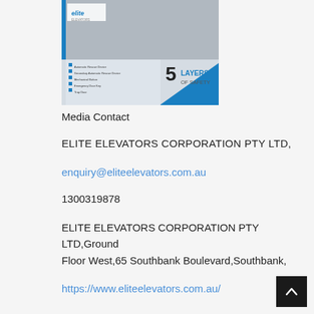[Figure (illustration): Elite Elevators brochure cover showing '5 Layers of Safety' with elevator interior photo and blue graphic design elements, listing: Automatic Rescue Device, Secondary Automatic Rescue Device, Mechanical Button, Emergency Door Key, Trap Door]
Media Contact
ELITE ELEVATORS CORPORATION PTY LTD,
enquiry@eliteelevators.com.au
1300319878
ELITE ELEVATORS CORPORATION PTY LTD,Ground Floor West,65 Southbank Boulevard,Southbank,
https://www.eliteelevators.com.au/